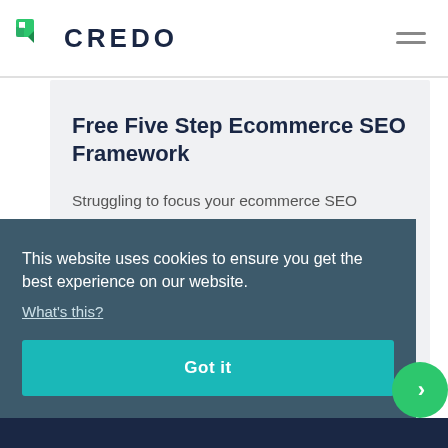CREDO
Free Five Step Ecommerce SEO Framework
Struggling to focus your ecommerce SEO efforts? Download our free ecommerce SEO
This website uses cookies to ensure you get the best experience on our website. What's this?
Got it